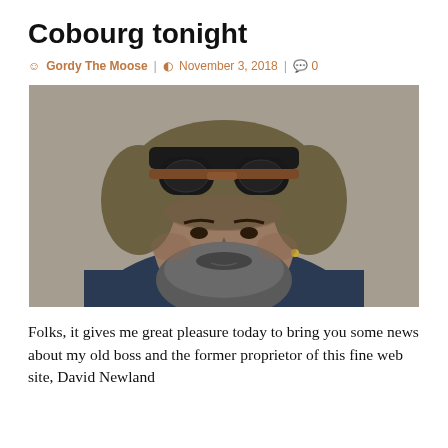Cobourg tonight
Gordy The Moose | November 3, 2018 | 0
[Figure (photo): Close-up portrait of a bearded man wearing a fur-lined aviator hat with goggles on top, looking directly at the camera. He has a full dark beard with grey, a small earring, and is wearing a blue jacket.]
Folks, it gives me great pleasure today to bring you some news about my old boss and the former proprietor of this fine web site, David Newland